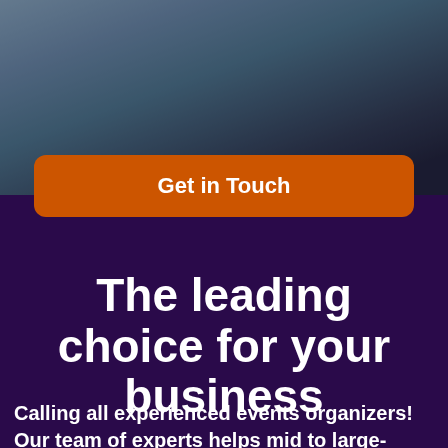[Figure (photo): Background photo of a person, blurred, with dark overlay, teal/blue tones]
Get in Touch
The leading choice for your business
Calling all experienced events organizers! Our team of experts helps mid to large-scale event